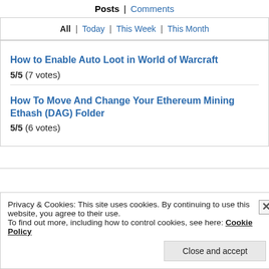Posts | Comments
All | Today | This Week | This Month
How to Enable Auto Loot in World of Warcraft
5/5 (7 votes)
How To Move And Change Your Ethereum Mining Ethash (DAG) Folder
5/5 (6 votes)
Privacy & Cookies: This site uses cookies. By continuing to use this website, you agree to their use.
To find out more, including how to control cookies, see here: Cookie Policy
Close and accept